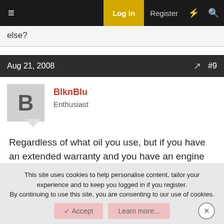≡   Log in   Register   ⚡   🔍
else?
Aug 21, 2008   #9
BlknBlu
Enthusiast
Regardless of what oil you use, but if you have an extended warranty and you have an engine failure with the wrong oil, it will come back and bite you.

Bruce
This site uses cookies to help personalise content, tailor your experience and to keep you logged in if you register.
By continuing to use this site, you are consenting to our use of cookies.